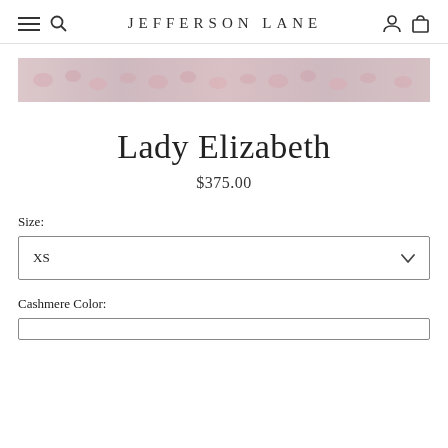JEFFERSON LANE
[Figure (photo): Thin horizontal banner showing a pink floral fabric pattern, used as a product image for Lady Elizabeth.]
Lady Elizabeth
$375.00
Size:
XS
Cashmere Color: